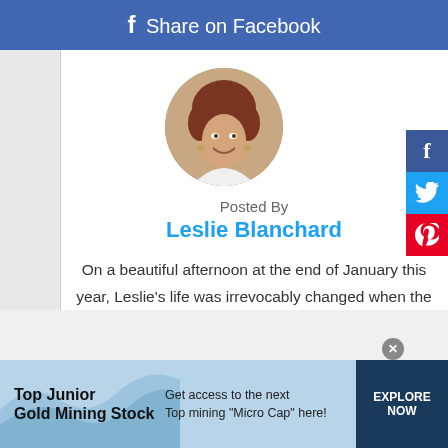f Share on Facebook
[Figure (photo): Circular profile photo of Leslie Blanchard, a woman with short reddish-brown hair, smiling, wearing a white top]
Posted By
Leslie Blanchard
On a beautiful afternoon at the end of January this year, Leslie's life was irrevocably changed when the Love of her Life, her husband of 33 years and father of their 5 children was killed in a motorcycle accident. Prior to that, Leslie's
[Figure (infographic): Advertisement banner: Top Junior Gold Mining Stock - Get access to the next Top mining 'Micro Cap' here! - EXPLORE NOW button]